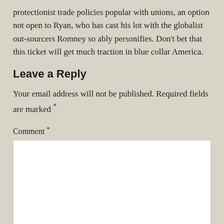protectionist trade policies popular with unions, an option not open to Ryan, who has cast his lot with the globalist out-sourcers Romney so ably personifies. Don't bet that this ticket will get much traction in blue collar America.
Leave a Reply
Your email address will not be published. Required fields are marked *
Comment *